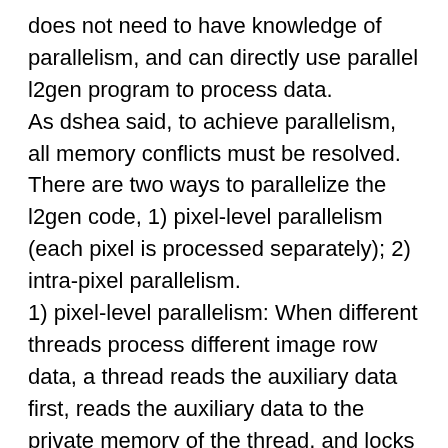does not need to have knowledge of parallelism, and can directly use parallel l2gen program to process data.
As dshea said, to achieve parallelism, all memory conflicts must be resolved.
There are two ways to parallelize the l2gen code, 1) pixel-level parallelism (each pixel is processed separately); 2) intra-pixel parallelism.
1) pixel-level parallelism: When different threads process different image row data, a thread reads the auxiliary data first, reads the auxiliary data to the private memory of the thread, and locks the HDF file at the same time, so that other threads cannot access it and an error occurs.
2)intra-pixel parallelism: The default atmospheric correction algorithm of seadas is a